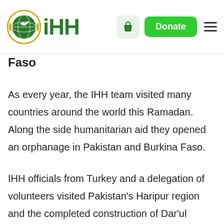IHH Humanitarian Relief Foundation
Faso
As every year, the IHH team visited many countries around the world this Ramadan. Along the side humanitarian aid they opened an orphanage in Pakistan and Burkina Faso.
IHH officials from Turkey and a delegation of volunteers visited Pakistan's Haripur region and the completed construction of Dar'ul Erkam orphanage was inaugurated. The two-story orphanage has the capacity to host 250 orphans aged between 5 to 12